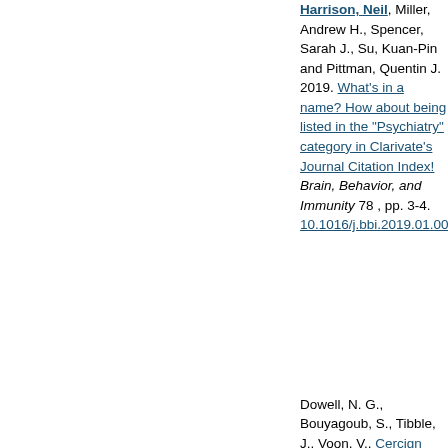Harrison, Neil, Miller, Andrew H., Spencer, Sarah J., Su, Kuan-Pin and Pittman, Quentin J. 2019. What's in a name? How about being listed in the "Psychiatry" category in Clarivate's Journal Citation Index! Brain, Behavior, and Immunity 78 , pp. 3-4. 10.1016/j.bbi.2019.01.005
Dowell, N. G., Bouyagoub, S., Tibble, J., Voon, V., Cercignani and Harrison, N. A. 2019. Interferon alpha induced changes in N predispose to the development of fatigue. Neuroscience 403 , pp. 117. 10.1016/j.neuroscience.2019...
[Figure (other): Open access icon (orange padlock symbol)]
[Figure (screenshot): Thumbnail preview of a document page with text content]